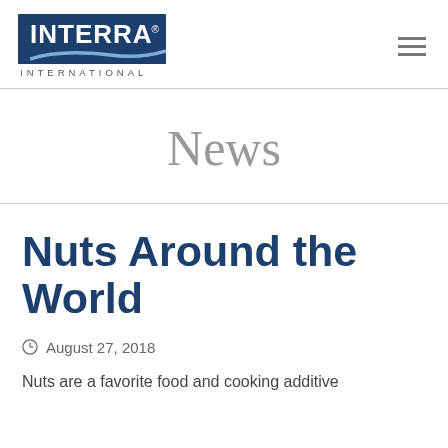[Figure (logo): Interra International logo — dark blue rectangle with INTERRA text and swoosh, INTERNATIONAL text below]
News
Nuts Around the World
August 27, 2018
Nuts are a favorite food and cooking additive